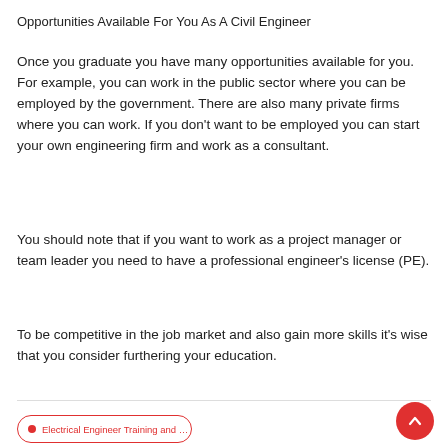Opportunities Available For You As A Civil Engineer
Once you graduate you have many opportunities available for you. For example, you can work in the public sector where you can be employed by the government. There are also many private firms where you can work. If you don't want to be employed you can start your own engineering firm and work as a consultant.
You should note that if you want to work as a project manager or team leader you need to have a professional engineer's license (PE).
To be competitive in the job market and also gain more skills it's wise that you consider furthering your education.
Electrical Engineer Training and Courses